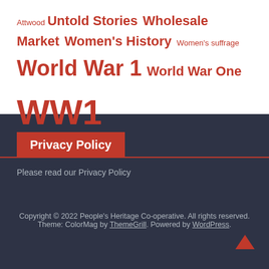Attwood Untold Stories Wholesale Market Women's History Women's suffrage World War 1 World War One WW1
Privacy Policy
Please read our Privacy Policy
Copyright © 2022 People's Heritage Co-operative. All rights reserved. Theme: ColorMag by ThemeGrill. Powered by WordPress.